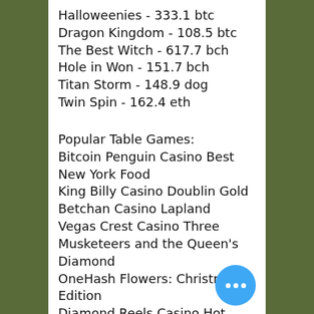Halloweenies - 333.1 btc
Dragon Kingdom - 108.5 btc
The Best Witch - 617.7 bch
Hole in Won - 151.7 bch
Titan Storm - 148.9 dog
Twin Spin - 162.4 eth
Popular Table Games:
Bitcoin Penguin Casino Best New York Food
King Billy Casino Doublin Gold
Betchan Casino Lapland
Vegas Crest Casino Three Musketeers and the Queen's Diamond
OneHash Flowers: Christmas Edition
Diamond Reels Casino Hot Roller
CryptoWild Casino The Snake Charmer
1xBit Casino Hot Safari
mBTC free bet Stunning Hot
CryptoWild Casino Sunset Delight